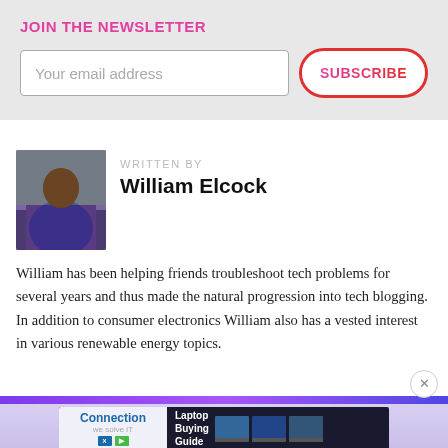JOIN THE NEWSLETTER
Your email address
SUBSCRIBE
WRITTEN BY
William Elcock
[Figure (photo): Author photo of William Elcock in graduation gown]
William has been helping friends troubleshoot tech problems for several years and thus made the natural progression into tech blogging. In addition to consumer electronics William also has a vested interest in various renewable energy topics.
[Figure (other): Advertisement banner for Connection showing Laptop Buying Guide with laptop images]